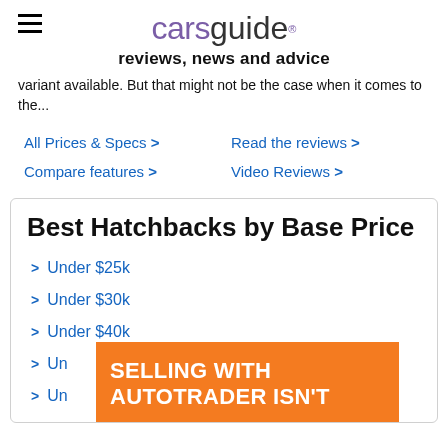carsguide reviews, news and advice
variant available. But that might not be the case when it comes to the...
All Prices & Specs >
Read the reviews >
Compare features >
Video Reviews >
Best Hatchbacks by Base Price
Under $25k
Under $30k
Under $40k
Un...
Un...
[Figure (other): Orange advertisement overlay reading 'SELLING WITH AUTOTRADER ISN'T']